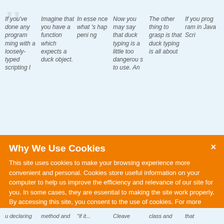If you've done any programming with a loosely-typed scripting language...
Imagine that you have a function which expects a duck object.
In essence what's happening...
Now you may say that duck typing is a little too dangerous to use. An...
The other thing to grasp is that duck typing is all about...
If you program in JavaScript...
Why We Use Cookies
This site uses cookies to make your browsing experience more convenient and personal. Cookies store useful information on your computer to help us improve the efficiency and relevance of our site for you. In some cases, they are essential to making the site work properly. By accessing this site, you consent to the use of cookies. For more information, refer to DevExpress' privacy policy and cookie policy.
I UNDERSTAND
u declaring... method and "if it... Cleave... class and... that...